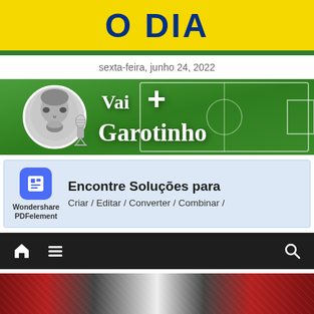O DIA
sexta-feira, junho 24, 2022
[Figure (illustration): Vai + Garotinho banner with man's face in circular frame on green soccer field background with microphone and script lettering]
[Figure (screenshot): Wondershare PDFelement advertisement banner — Encontre Soluções para / Criar / Editar / Converter / Combinar]
[Figure (screenshot): Dark navigation bar with home icon, hamburger menu icon, and search icon]
[Figure (photo): Crowd photo at bottom of page showing sports fans]